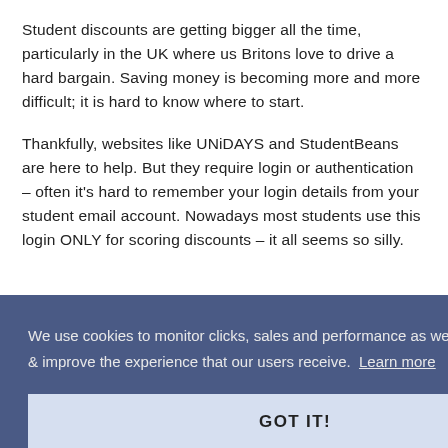Student discounts are getting bigger all the time, particularly in the UK where us Britons love to drive a hard bargain. Saving money is becoming more and more difficult; it is hard to know where to start.
Thankfully, websites like UNiDAYS and StudentBeans are here to help. But they require login or authentication – often it's hard to remember your login details from your student email account. Nowadays most students use this login ONLY for scoring discounts – it all seems so silly.
We use cookies to monitor clicks, sales and performance as well as to optimise & improve the experience that our users receive. Learn more
GOT IT!
TOTUM?